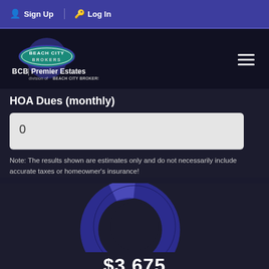Sign Up   Log In
[Figure (logo): Beach City Brokers logo — oval teal/blue shape with 'BEACH CITY BROKERS' text, above 'BCB | Premier Estates' and 'division of BEACH CITY BROKERS']
HOA Dues (monthly)
0
Note: The results shown are estimates only and do not necessarily include accurate taxes or homeowner's insurance!
[Figure (donut-chart): Donut chart in dark blue/navy showing monthly payment breakdown]
$3,675
Monthly Payment